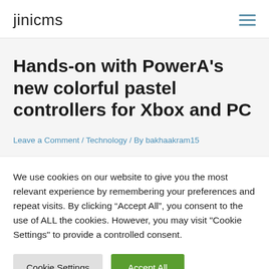jinicms
Hands-on with PowerA’s new colorful pastel controllers for Xbox and PC
Leave a Comment / Technology / By bakhaakram15
We use cookies on our website to give you the most relevant experience by remembering your preferences and repeat visits. By clicking “Accept All”, you consent to the use of ALL the cookies. However, you may visit "Cookie Settings" to provide a controlled consent.